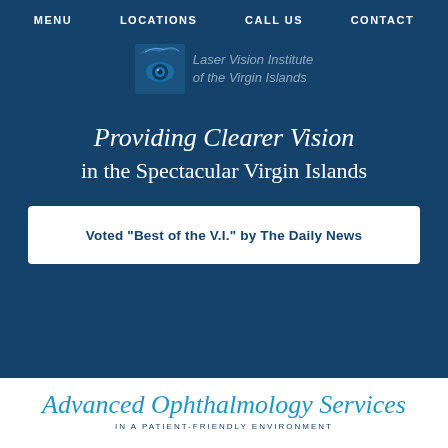MENU   LOCATIONS   CALL US   CONTACT
[Figure (logo): Laser Vision Institute of the Virgin Islands logo with stylized eye graphic]
Providing Clearer Vision in the Spectacular Virgin Islands
Voted "Best of the V.I." by The Daily News
Advanced Ophthalmology Services